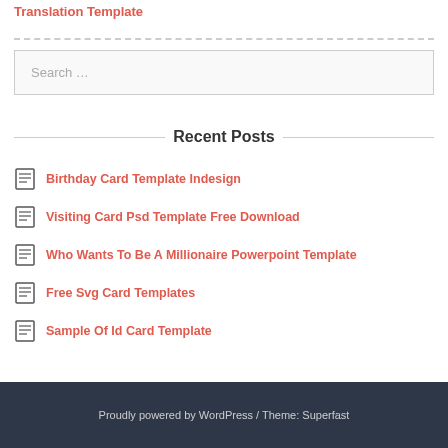Translation Template
Recent Posts
Birthday Card Template Indesign
Visiting Card Psd Template Free Download
Who Wants To Be A Millionaire Powerpoint Template
Free Svg Card Templates
Sample Of Id Card Template
Proudly powered by WordPress / Theme: Superfast